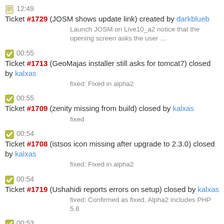12:49 Ticket #1729 (JOSM shows update link) created by darkblueb
Launch JOSM on Live10_a2 notice that the opening screen asks the user …
00:55 Ticket #1713 (GeoMajas installer still asks for tomcat7) closed by kalxas
fixed: Fixed in alpha2
00:55 Ticket #1709 (zenity missing from build) closed by kalxas
fixed
00:54 Ticket #1708 (istsos icon missing after upgrade to 2.3.0) closed by kalxas
fixed: Fixed in alpha2
00:54 Ticket #1719 (Ushahidi reports errors on setup) closed by kalxas
fixed: Confirmed as fixed. Alpha2 includes PHP 5.6
00:53 Ticket #1715 (Tomcat 8 unresponcive when started - out of memory) closed by kalxas
fixed